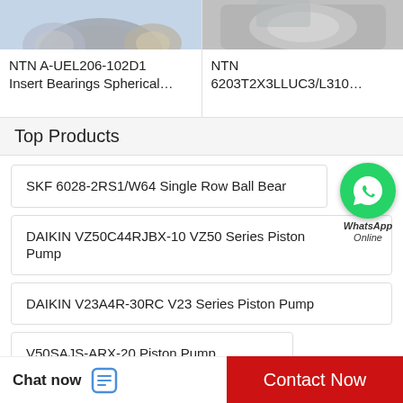[Figure (photo): Partial product image - NTN Insert Bearings Spherical]
NTN A-UEL206-102D1 Insert Bearings Spherical...
[Figure (photo): Partial product image - NTN 6203T2X3LLUC3/L310]
NTN 6203T2X3LLUC3/L310...
Top Products
SKF 6028-2RS1/W64 Single Row Ball Bear
DAIKIN VZ50C44RJBX-10 VZ50 Series Piston Pump
DAIKIN V23A4R-30RC V23 Series Piston Pump
V50SAJS-ARX-20 Piston Pump
[Figure (illustration): WhatsApp Online bubble icon with green circle and phone icon]
Chat now   Contact Now